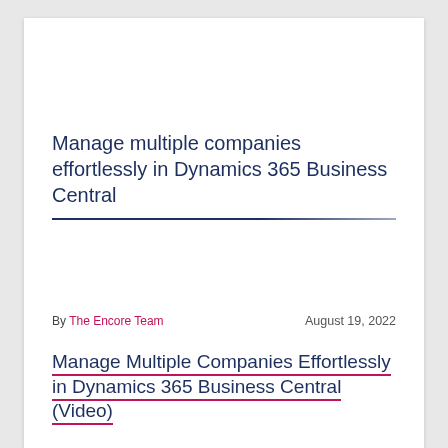Manage multiple companies effortlessly in Dynamics 365 Business Central
By The Encore Team   August 19, 2022
Manage Multiple Companies Effortlessly in Dynamics 365 Business Central (Video)